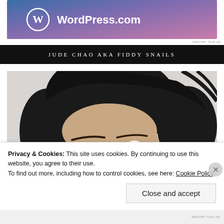[Figure (logo): WordPress.com advertisement banner with gradient blue-purple-pink background and WordPress logo and text]
REPORT THIS AD
JUDE CHAO AKA FIDDY SNAILS
[Figure (photo): Close-up photo of a woman with dark hair looking up, showing her eyes and forehead against a light gray background]
Privacy & Cookies: This site uses cookies. By continuing to use this website, you agree to their use.
To find out more, including how to control cookies, see here: Cookie Policy
Close and accept